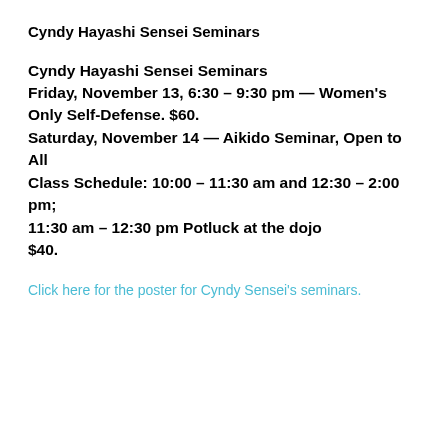Cyndy Hayashi Sensei Seminars
Cyndy Hayashi Sensei Seminars
Friday, November 13, 6:30 – 9:30 pm — Women's Only Self-Defense. $60.
Saturday, November 14 — Aikido Seminar, Open to All
Class Schedule: 10:00 – 11:30 am and 12:30 – 2:00 pm;
11:30 am – 12:30 pm Potluck at the dojo
$40.
Click here for the poster for Cyndy Sensei's seminars.